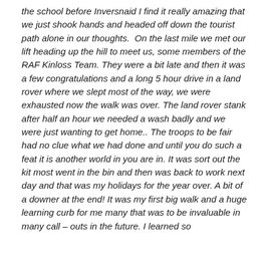the school before Inversnaid I find it really amazing that we just shook hands and headed off down the tourist path alone in our thoughts.  On the last mile we met our lift heading up the hill to meet us, some members of the RAF Kinloss Team. They were a bit late and then it was a few congratulations and a long 5 hour drive in a land rover where we slept most of the way, we were exhausted now the walk was over. The land rover stank after half an hour we needed a wash badly and we were just wanting to get home.. The troops to be fair had no clue what we had done and until you do such a feat it is another world in you are in. It was sort out the kit most went in the bin and then was back to work next day and that was my holidays for the year over. A bit of a downer at the end! It was my first big walk and a huge learning curb for me many that was to be invaluable in many call – outs in the future. I learned so